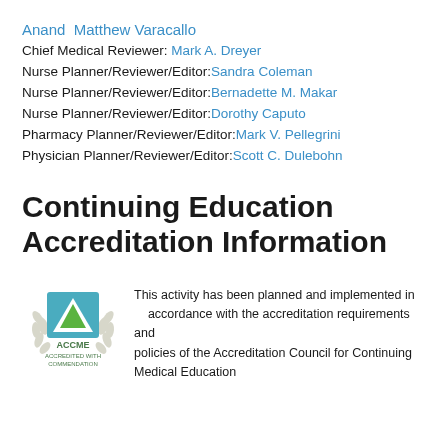Anand  Matthew Varacallo
Chief Medical Reviewer: Mark A. Dreyer
Nurse Planner/Reviewer/Editor: Sandra Coleman
Nurse Planner/Reviewer/Editor: Bernadette M. Makar
Nurse Planner/Reviewer/Editor: Dorothy Caputo
Pharmacy Planner/Reviewer/Editor: Mark V. Pellegrini
Physician Planner/Reviewer/Editor: Scott C. Dulebohn
Continuing Education Accreditation Information
[Figure (logo): ACCME Accredited with Commendation logo — circular emblem with laurel wreath, mountain/tent shape icon in green and blue, with text ACCME ACCREDITED WITH COMMENDATION]
This activity has been planned and implemented in accordance with the accreditation requirements and policies of the Accreditation Council for Continuing Medical Education